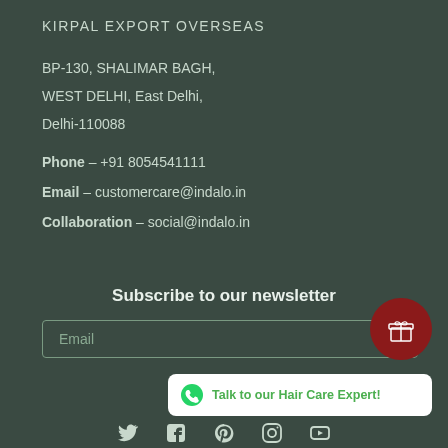KIRPAL EXPORT OVERSEAS
BP-130, SHALIMAR BAGH,
WEST DELHI, East Delhi,
Delhi-110088
Phone – +91 8054541111
Email – customercare@indalo.in
Collaboration – social@indalo.in
Subscribe to our newsletter
Email
[Figure (infographic): Dark red circular gift icon button]
[Figure (infographic): WhatsApp chat bubble with text: Talk to our Hair Care Expert!]
[Figure (infographic): Social media icons: Twitter, Facebook, Pinterest, Instagram, YouTube]